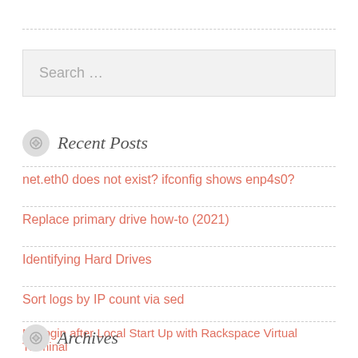Search …
Recent Posts
net.eth0 does not exist? ifconfig shows enp4s0?
Replace primary drive how-to (2021)
Identifying Hard Drives
Sort logs by IP count via sed
No login after Local Start Up with Rackspace Virtual Terminal
Archives